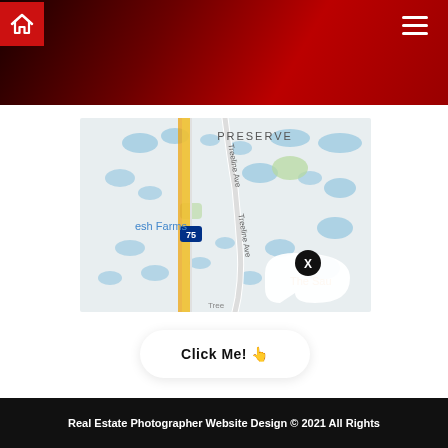Navigation header with home icon and hamburger menu
[Figure (map): Google Maps screenshot showing Treeline Ave area with I-75 highway, Preserve label, Fresh Farms label, The Sau... label, and a black X marker pin. Map shows roads, water bodies in blue, and green areas.]
Click Me! 👆
Real Estate Photographer Website Design © 2021 All Rights